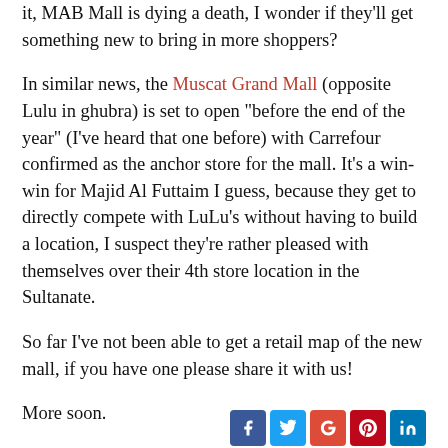it, MAB Mall is dying a death, I wonder if they'll get something new to bring in more shoppers?
In similar news, the Muscat Grand Mall (opposite Lulu in ghubra) is set to open "before the end of the year" (I've heard that one before) with Carrefour confirmed as the anchor store for the mall. It's a win-win for Majid Al Futtaim I guess, because they get to directly compete with LuLu's without having to build a location, I suspect they're rather pleased with themselves over their 4th store location in the Sultanate.
So far I've not been able to get a retail map of the new mall, if you have one please share it with us!
More soon.
le fin.